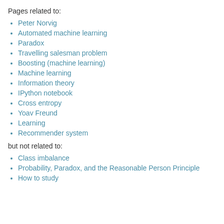Pages related to:
Peter Norvig
Automated machine learning
Paradox
Travelling salesman problem
Boosting (machine learning)
Machine learning
Information theory
IPython notebook
Cross entropy
Yoav Freund
Learning
Recommender system
but not related to:
Class imbalance
Probability, Paradox, and the Reasonable Person Principle
How to study